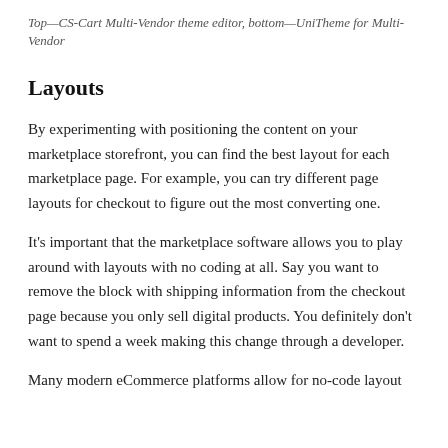Top—CS-Cart Multi-Vendor theme editor, bottom—UniTheme for Multi-Vendor
Layouts
By experimenting with positioning the content on your marketplace storefront, you can find the best layout for each marketplace page. For example, you can try different page layouts for checkout to figure out the most converting one.
It's important that the marketplace software allows you to play around with layouts with no coding at all. Say you want to remove the block with shipping information from the checkout page because you only sell digital products. You definitely don't want to spend a week making this change through a developer.
Many modern eCommerce platforms allow for no-code layout